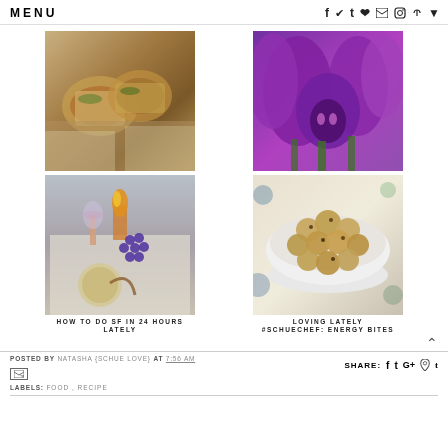MENU | social icons: f t p instagram heart mail
[Figure (photo): Photo of tacos/sandwiches wrapped in paper]
HOW TO DO SF IN 24 HOURS
[Figure (photo): Photo of purple tulip flowers close-up]
LOVING LATELY
[Figure (photo): Photo of picnic scene with wine, grapes, and round woven bag]
LATELY
[Figure (photo): Photo of energy bites in a white bowl on floral fabric]
#SCHUECHEF: ENERGY BITES
POSTED BY NATASHA {SCHUE LOVE} AT 7:56 AM
LABELS: FOOD , RECIPE
SHARE: f t G+ p t